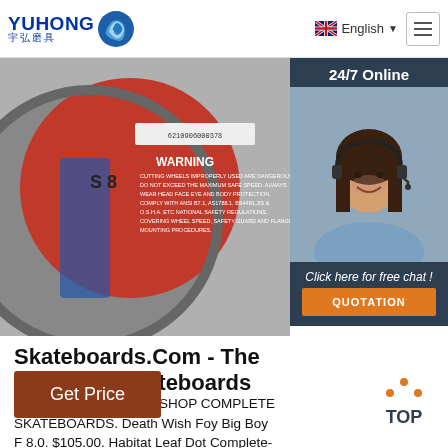[Figure (logo): Yuhong logo with Chinese characters 宇弘磨具 and blue wave icon]
[Figure (screenshot): Navigation bar with English language selector and hamburger menu]
[Figure (photo): Abrasive cutting wheel product with red and grey disc, WARNING label visible, barcode 6210906000378]
[Figure (photo): 24/7 Online chat sidebar with woman wearing headset, dark navy background, 'Click here for free chat!' text and orange QUOTATION button]
Skateboards.Com - The Best Sele Skateboards On
2 days agou2002·u2002SHOP COMPLETE SKATEBOARDS. Death Wish Foy Big Boy F 8.0. $105.00. Habitat Leaf Dot Complete-7.7 $87.50. Globe G2 Tarka Complete-8.37 Plaza. $99.75. Real Be Free Complete-8.25. $94.50.
[Figure (other): Get Price brown button]
[Figure (other): TOP navigation button with orange dots icon]